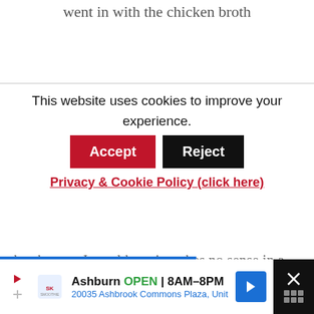went in with the chicken broth
This website uses cookies to improve your experience.
Accept
Reject
Privacy & Cookie Policy (click here)
broth goes. I would say it makes no sense in a Mornay sauce except that 1 cup of milk is not enough...
I wish I could be of more help but I no longer have the sheet that was given to us. I just
Ashburn OPEN | 8AM–8PM 20035 Ashbrook Commons Plaza, Unit